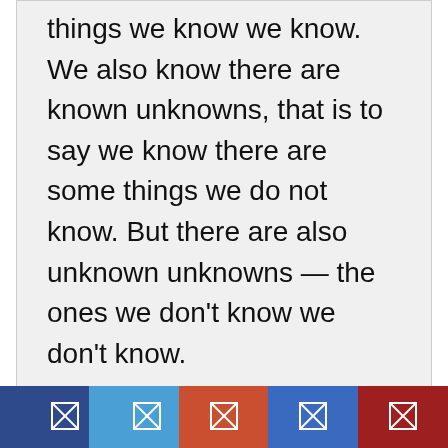things we know we know. We also know there are known unknowns, that is to say we know there are some things we do not know. But there are also unknown unknowns — the ones we don't know we don't know.
The ratio of the browser window is just one example of a known unknown on the web. The simplest way to deal with this situation is to use flexible units for layout: percentages rather than
[Figure (other): Bottom toolbar with five colored buttons (dark blue, light blue, orange-red, medium blue, dark red), each containing a small white outlined square icon with an X.]